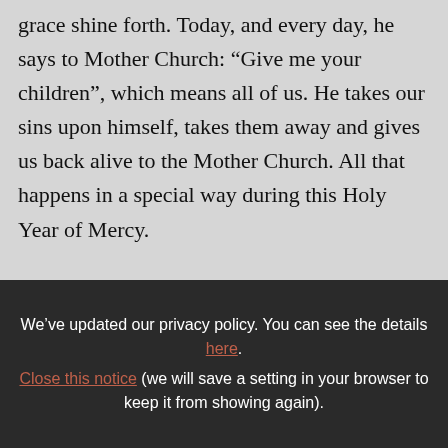grace shine forth. Today, and every day, he says to Mother Church: “Give me your children”, which means all of us. He takes our sins upon himself, takes them away and gives us back alive to the Mother Church. All that happens in a special way during this Holy Year of Mercy.

The Church today offers us two of her children who are exemplary witnesses to this mystery of resurrection. Both can sing forever in the
We’ve updated our privacy policy. You can see the details here. Close this notice (we will save a setting in your browser to keep it from showing again).